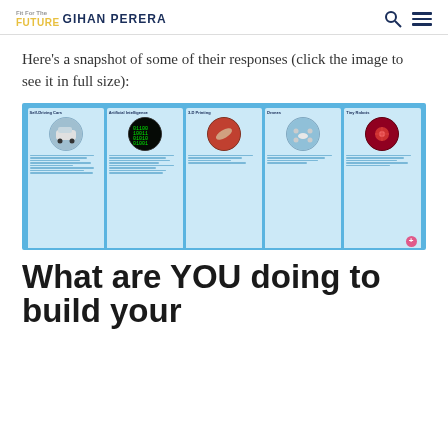Fit For The FUTURE GIHAN PERERA
Here's a snapshot of some of their responses (click the image to see it in full size):
[Figure (screenshot): Screenshot of a collaborative board showing five columns: Self-Driving Cars, Artificial Intelligence, 3-D Printing, Drones, and Tiny Robots, each with a circular image and user comments below.]
What are YOU doing to build your